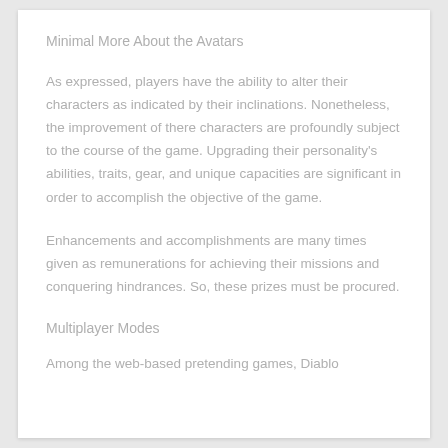Minimal More About the Avatars
As expressed, players have the ability to alter their characters as indicated by their inclinations. Nonetheless, the improvement of there characters are profoundly subject to the course of the game. Upgrading their personality's abilities, traits, gear, and unique capacities are significant in order to accomplish the objective of the game.
Enhancements and accomplishments are many times given as remunerations for achieving their missions and conquering hindrances. So, these prizes must be procured.
Multiplayer Modes
Among the web-based pretending games, Diablo